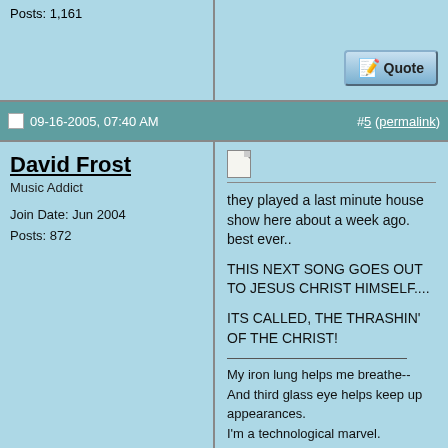Posts: 1,161
[Figure (screenshot): Quote button with pencil/paper icon]
09-16-2005, 07:40 AM
#5 (permalink)
David Frost
Music Addict
Join Date: Jun 2004
Posts: 872
they played a last minute house show here about a week ago. best ever..
THIS NEXT SONG GOES OUT TO JESUS CHRIST HIMSELF....
ITS CALLED, THE THRASHIN' OF THE CHRIST!
My iron lung helps me breathe--
And third glass eye helps keep up appearances.
I'm a technological marvel.
Quote:
Originally Posted by IamAlejo
And to think that just because you are a citizen you deserve